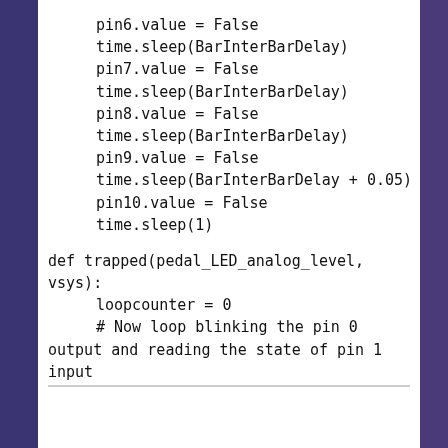pin6.value = False
time.sleep(BarInterBarDelay)
pin7.value = False
time.sleep(BarInterBarDelay)
pin8.value = False
time.sleep(BarInterBarDelay)
pin9.value = False
time.sleep(BarInterBarDelay + 0.05)
pin10.value = False
time.sleep(1)

def trapped(pedal_LED_analog_level, vsys):
    loopcounter = 0
    # Now loop blinking the pin 0 output and reading the state of pin 1 input